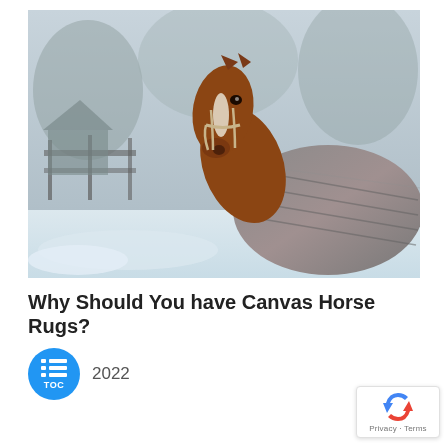[Figure (photo): A bay horse wearing a plaid/striped canvas horse rug/blanket, standing in a snowy outdoor setting with snow-covered trees and a fence in the background. The horse has a white blaze on its face and is wearing a tan halter.]
Why Should You have Canvas Horse Rugs?
2022
[Figure (logo): reCAPTCHA badge with Google reCAPTCHA logo (blue and red arrows forming a recycle-like symbol), with 'Privacy · Terms' text below.]